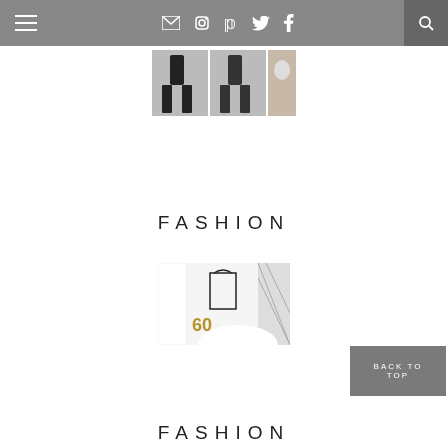Navigation bar with hamburger menu, social icons (email, instagram, pinterest, twitter, facebook), and search
[Figure (photo): Three small thumbnail images of fashion models in black clothing, cropped]
FASHION
[Figure (photo): Fashion collage image showing bags, black and white patterns, and a number 60]
BACK TO TOP
FASHION